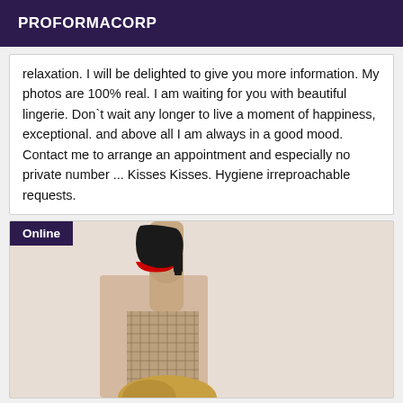PROFORMACORP
relaxation. I will be delighted to give you more information. My photos are 100% real. I am waiting for you with beautiful lingerie. Don`t wait any longer to live a moment of happiness, exceptional. and above all I am always in a good mood. Contact me to arrange an appointment and especially no private number ... Kisses Kisses. Hygiene irreproachable requests.
[Figure (photo): Person holding up a red-soled high heel shoe, wearing fishnet stockings, photographed against a light beige background. Online badge visible top-left.]